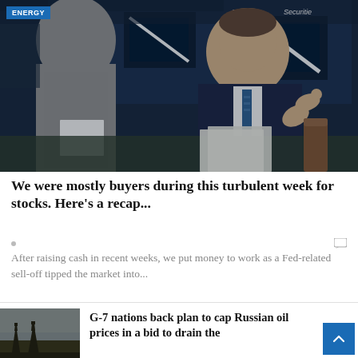[Figure (photo): A man in a dark suit gesturing while speaking at what appears to be a stock exchange trading floor, with Bloomberg/financial screens in the background and CITADEL Securities signage visible. Another person is seen from behind in the foreground.]
We were mostly buyers during this turbulent week for stocks. Here's a recap...
After raising cash in recent weeks, we put money to work as a Fed-related sell-off tipped the market into...
[Figure (photo): Small thumbnail showing industrial oil equipment or cranes against a sky backdrop.]
G-7 nations back plan to cap Russian oil prices in a bid to drain the